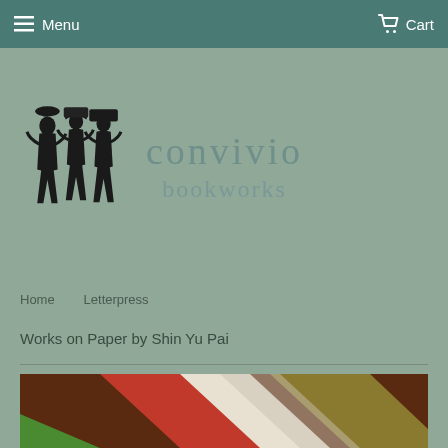Menu   Cart
[Figure (logo): Convivio Bookworks logo with woodcut illustration of three figures carrying items on their heads, next to the text CONVIVIO bookworks in muted teal serif font]
Home   Letterpress
Works on Paper by Shin Yu Pai
[Figure (photo): Partial view of layered papers or book pages in red, white and olive/gold tones]